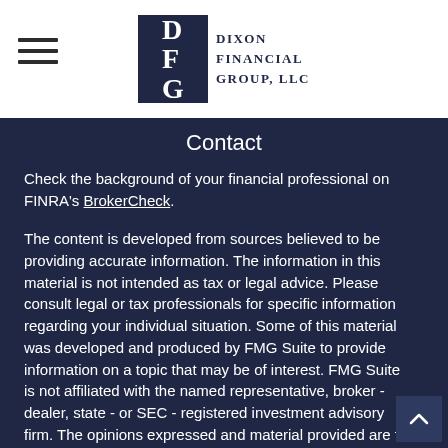[Figure (logo): Dixon Financial Group LLC logo — dark navy square with DFG letters and company name to the right]
Contact
Check the background of your financial professional on FINRA's BrokerCheck.
The content is developed from sources believed to be providing accurate information. The information in this material is not intended as tax or legal advice. Please consult legal or tax professionals for specific information regarding your individual situation. Some of this material was developed and produced by FMG Suite to provide information on a topic that may be of interest. FMG Suite is not affiliated with the named representative, broker - dealer, state - or SEC - registered investment advisory firm. The opinions expressed and material provided are for general information, and should not be considered a